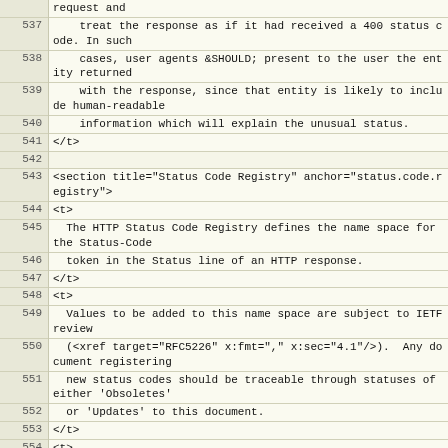| line | content |
| --- | --- |
|  | request and |
| 537 |     treat the response as if it had received a 400 status code. In such |
| 538 |     cases, user agents &SHOULD; present to the user the entity returned |
| 539 |     with the response, since that entity is likely to include human-readable |
| 540 |     information which will explain the unusual status. |
| 541 | </t> |
| 542 |  |
| 543 | <section title="Status Code Registry" anchor="status.code.registry"> |
| 544 | <t> |
| 545 |   The HTTP Status Code Registry defines the name space for the Status-Code |
| 546 |   token in the Status line of an HTTP response. |
| 547 | </t> |
| 548 | <t> |
| 549 |   Values to be added to this name space are subject to IETF review |
| 550 |   (<xref target="RFC5226" x:fmt="," x:sec="4.1"/>).  Any document registering |
| 551 |   new status codes should be traceable through statuses of either 'Obsoletes' |
| 552 |   or 'Updates' to this document. |
| 553 | </t> |
| 554 | <t> |
| 555 |   The registry itself is maintained at <eref target="http://www.iana.org/assignments/http-status-codes"/>. |
| 556 | </t> |
| 557 | </section> |
| 558 |  |
| 559 | </section> |